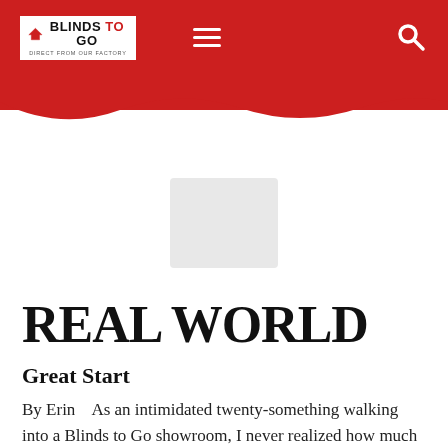Blinds To Go — Direct From Our Factory
[Figure (photo): A small placeholder/loading image box in the center of the page, light grey rectangle]
REAL WORLD
Great Start
By Erin   As an intimidated twenty-something walking into a Blinds to Go showroom, I never realized how much this job would change my thinking process.